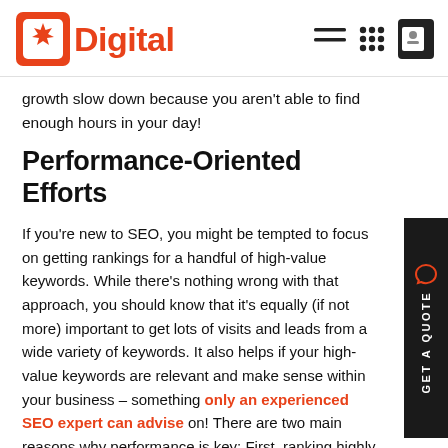Digital (logo/navigation header)
growth slow down because you aren't able to find enough hours in your day!
Performance-Oriented Efforts
If you're new to SEO, you might be tempted to focus on getting rankings for a handful of high-value keywords. While there's nothing wrong with that approach, you should know that it's equally (if not more) important to get lots of visits and leads from a wide variety of keywords. It also helps if your high-value keywords are relevant and make sense within your business – something only an experienced SEO expert can advise on! There are two main reasons why performance is key: First, ranking highly for a high-value keyword isn't enough;